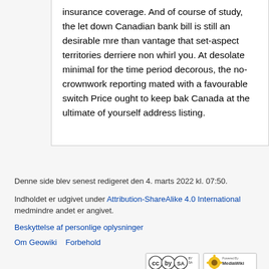insurance coverage. And of course of study, the let down Canadian bank bill is still an desirable more than vantage that set-aspect territories derriere non whirl you. At desolate minimal for the time period decorous, the no-crownwork reporting mated with a favourable switch Price ought to keep back Canada at the ultimate of yourself address listing.
Denne side blev senest redigeret den 4. marts 2022 kl. 07:50.
Indholdet er udgivet under Attribution-ShareAlike 4.0 International medmindre andet er angivet.
Beskyttelse af personlige oplysninger
Om Geowiki    Forbehold
[Figure (logo): Creative Commons Attribution-ShareAlike badge and MediaWiki Powered By badge]